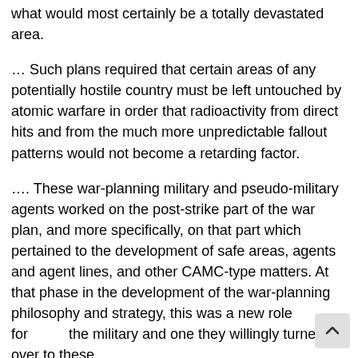what would most certainly be a totally devastated area.
… Such plans required that certain areas of any potentially hostile country must be left untouched by atomic warfare in order that radioactivity from direct hits and from the much more unpredictable fallout patterns would not become a retarding factor.
…. These war-planning military and pseudo-military agents worked on the post-strike part of the war plan, and more specifically, on that part which pertained to the development of safe areas, agents and agent lines, and other CAMC-type matters. At that phase in the development of the war-planning philosophy and strategy, this was a new role for the military and one they willingly turned over to these